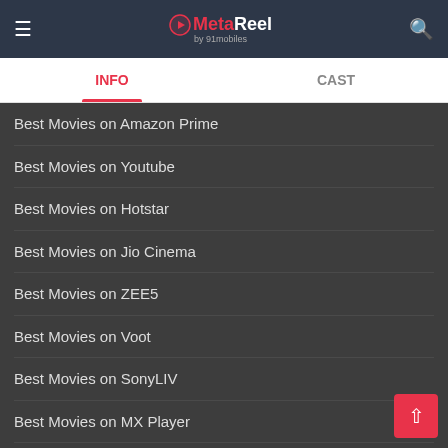MetaReel by 91mobiles
INFO | CAST
Best Movies on Amazon Prime
Best Movies on Youtube
Best Movies on Hotstar
Best Movies on Jio Cinema
Best Movies on ZEE5
Best Movies on Voot
Best Movies on SonyLIV
Best Movies on MX Player
Best Movies on Tubi
Best Shows on Netflix
Best Shows on Amazon Prime